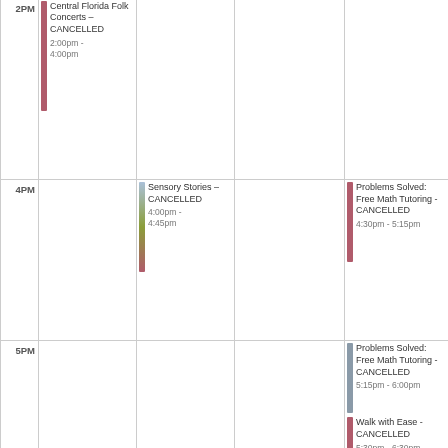| Time | Col1 | Col2 | Col3 | Col4 |
| --- | --- | --- | --- | --- |
|  |  |  | - CANCELLED 1:30pm - 2:00pm | Midweek - TBA - CANCELLED 1:00pm - 3:00pm | Electric Vehicle Roadshow - CANCELLED 1:00pm - 5:00pm |
| 2PM | Central Florida Folk Concerts – CANCELLED 2:00pm - 4:00pm |  |  |  |
| 4PM |  | Sensory Stories – CANCELLED 4:00pm - 4:45pm |  | Problems Solved: Free Math Tutoring - CANCELLED 4:30pm - 5:15pm |
| 5PM |  |  |  | Problems Solved: Free Math Tutoring - CANCELLED 5:15pm - 6:00pm | Walk with Ease - CANCELLED 5:30pm - 6:30pm |
| 6PM |  |  | Tween Advisory Board -- CANCELLED 6:30pm - 7:30pm | Problems Solved: Free Math Tutoring - CANCELLED 6:00pm - 6:45pm |